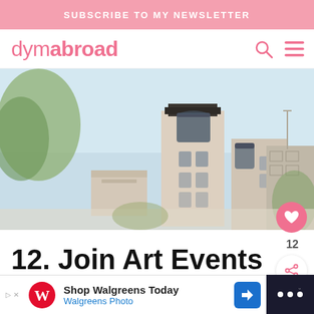SUBSCRIBE TO MY NEWSLETTER
dymabroad
[Figure (photo): Exterior photo of modern university or civic buildings with a tall tower structure against a light blue sky, with trees and a parking structure visible]
12. Join Art Events With Others